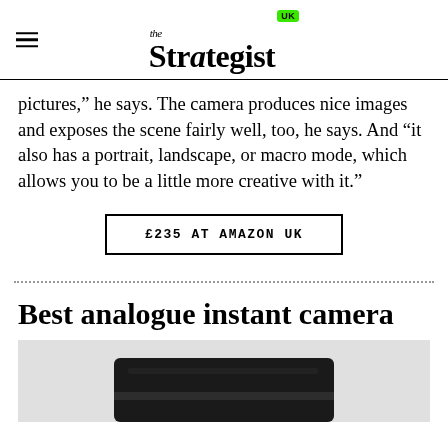the Strategist UK
pictures,” he says. The camera produces nice images and exposes the scene fairly well, too, he says. And “it also has a portrait, landscape, or macro mode, which allows you to be a little more creative with it.”
£235 AT AMAZON UK
Best analogue instant camera
[Figure (photo): Bottom portion of a dark/black analogue instant camera against a light grey background]